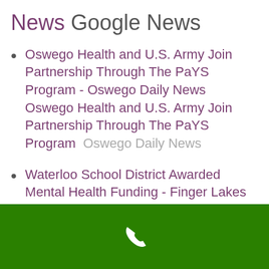News Google News
Oswego Health and U.S. Army Join Partnership Through The PaYS Program - Oswego Daily News Oswego Health and U.S. Army Join Partnership Through The PaYS Program  Oswego Daily News
Waterloo School District Awarded Mental Health Funding - Finger Lakes Daily News Waterloo School District Awarded Mental Health Funding  Finger Lakes Daily News
[Figure (other): Green footer bar with white phone icon]